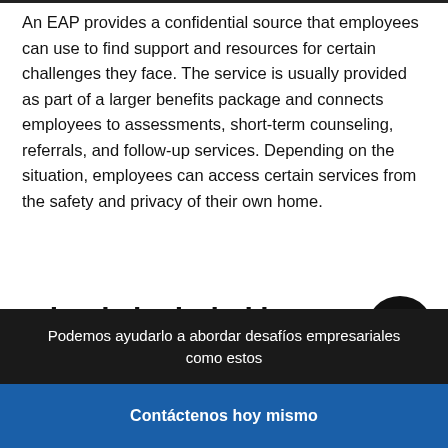An EAP provides a confidential source that employees can use to find support and resources for certain challenges they face. The service is usually provided as part of a larger benefits package and connects employees to assessments, short-term counseling, referrals, and follow-up services. Depending on the situation, employees can access certain services from the safety and privacy of their own home.
What is included in an EAP
Podemos ayudarlo a abordar desafíos empresariales como estos
Contáctenos hoy mismo